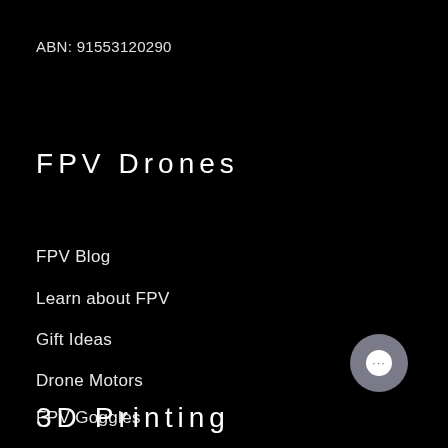ABN: 91553120290
FPV Drones
FPV Blog
Learn about FPV
Gift Ideas
Drone Motors
FPV Goggles
Batteries
[Figure (other): Chat support button — circular grey bubble with white circle and ellipsis (…) inside]
3D Printing